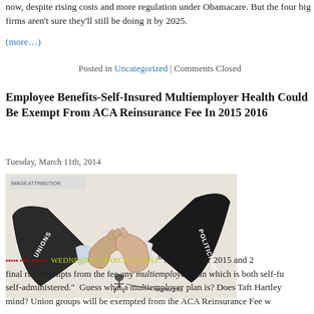now, despite rising costs and more regulation under Obamacare. But the four big firms aren't sure they'll still be doing it by 2025.
(more…)
Posted in Uncategorized | Comments Closed
Employee Benefits-Self-Insured Multiemployer Health Could Be Exempt From ACA Reinsurance Fee In 2015 2016
Tuesday, March 11th, 2014
[Figure (illustration): Editorial cartoon of a handshake between two suited figures labeled UNIONS and POLITICIANS, with a small figure labeled TAXPAYERS being crushed in the handshake]
…………for 2015 and 2 final rule exempts from the fee any multiemployer plan which is both self-fu self-administered." Guess what a multiemployer plan is? Does Taft Hartley mind? Union groups will be exempted from the ACA Reinsurance Fee w